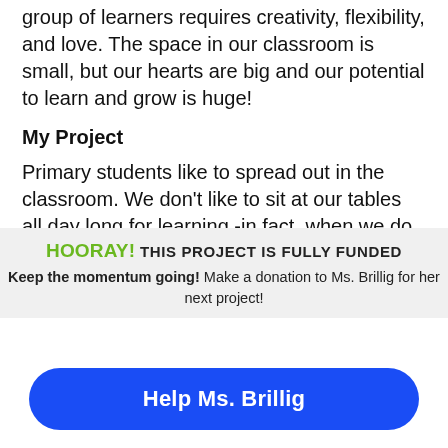group of learners requires creativity, flexibility, and love. The space in our classroom is small, but our hearts are big and our potential to learn and grow is huge!
My Project
Primary students like to spread out in the classroom. We don't like to sit at our tables all day long for learning -in fact, when we do we get very distracted and noisy. Our teacher
HOORAY! THIS PROJECT IS FULLY FUNDED
Keep the momentum going! Make a donation to Ms. Brillig for her next project!
Help Ms. Brillig